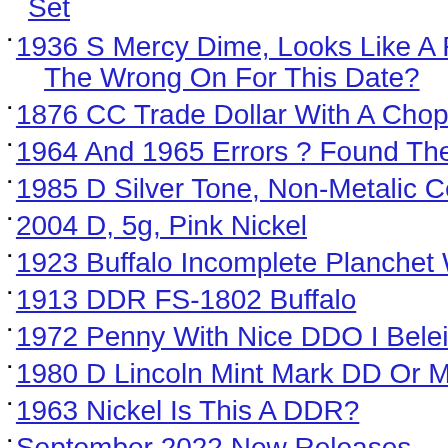Set
1936 S Mercy Dime, Looks Like A Repunch Min... The Wrong On For This Date?
1876 CC Trade Dollar With A Chop
1964 And 1965 Errors ? Found These Today
1985 D Silver Tone, Non-Metalic Cent.
2004 D, 5g, Pink Nickel
1923 Buffalo Incomplete Planchet With "smith P...
1913 DDR FS-1802 Buffalo
1972 Penny With Nice DDO I Beleive Need Opi...
1980 D Lincoln Mint Mark DD Or MD?
1963 Nickel Is This A DDR?
September 2022 New Releases